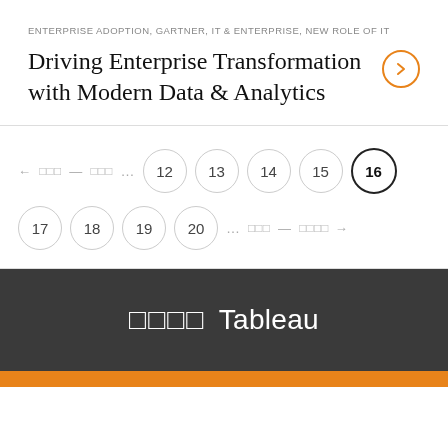ENTERPRISE ADOPTION, GARTNER, IT & ENTERPRISE, NEW ROLE OF IT
Driving Enterprise Transformation with Modern Data & Analytics
← 前へ — 前のページ ... 12 13 14 15 16 (current) 17 18 19 20 ... 次へ — 次のページ →
□□□□ Tableau